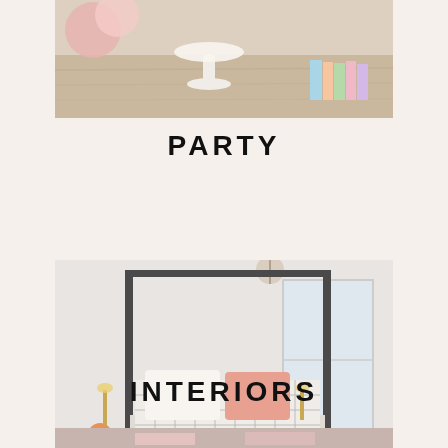[Figure (photo): Top portion of a party table scene with white cake stand, balloons, and colorful books on a light wood surface]
PARTY
[Figure (photo): Interior bedroom photo showing a four-poster canopy bed with black metal frame, grid-patterned white bedding, pink pillow, black and white striped throw, dark wood nightstand with orange flowers, gold wall sconce, and a window in the background]
INTERIORS
[Figure (photo): Bottom partially visible photo showing a blurry interior or food scene with pink/peach tones]